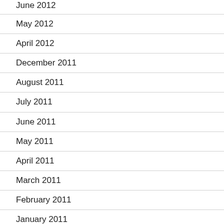June 2012
May 2012
April 2012
December 2011
August 2011
July 2011
June 2011
May 2011
April 2011
March 2011
February 2011
January 2011